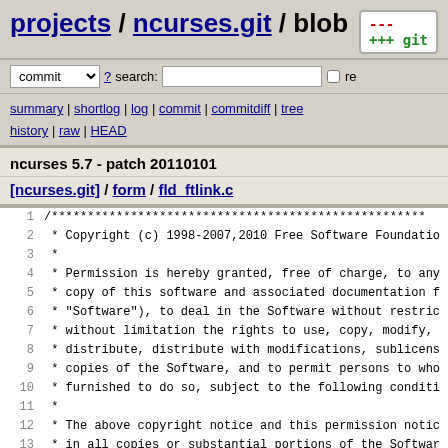projects / ncurses.git / blob
commit ? search: re
summary | shortlog | log | commit | commitdiff | tree history | raw | HEAD
ncurses 5.7 - patch 20110101
[ncurses.git] / form / fld_ftlink.c
1  /************************************************************
2   * Copyright (c) 1998-2007,2010 Free Software Foundatio
3   *
4   * Permission is hereby granted, free of charge, to any
5   * copy of this software and associated documentation f
6   * "Software"), to deal in the Software without restric
7   * without limitation the rights to use, copy, modify,
8   * distribute, distribute with modifications, sublicens
9   * copies of the Software, and to permit persons to who
10  * furnished to do so, subject to the following conditi
11  *
12  * The above copyright notice and this permission notic
13  * in all copies or substantial portions of the Softwar
14  *
15  * THE SOFTWARE IS PROVIDED "AS IS", WITHOUT WARRANTY O
16  * OR IMPLIED, INCLUDING BUT NOT LIMITED TO THE WARRANT
17  * MERCHANTABILITY, FITNESS FOR A PARTICULAR PURPOSE AN
18  * IN NO EVENT SHALL THE ABOVE COPYRIGHT HOLDERS BE LIA
19  * DAMAGES OR OTHER LIABILITY, WHETHER IN AN ACTION OF